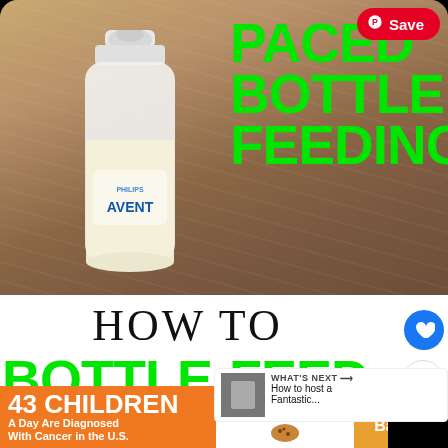[Figure (photo): A Philips Avent baby bottle filled with milk sitting on a wooden surface, with bright green text overlay reading PACED BOTTLE FEEDING, and a Pinterest Save button in the top right corner]
PACED BOTTLE FEEDING
HOW TO
BOTTLE-FEED
WHAT'S NEXT → How to host a Fantastic...
43 CHILDREN A Day Are Diagnosed With Cancer in the U.S.
cookies for kids' cancer
Let's Get Baking